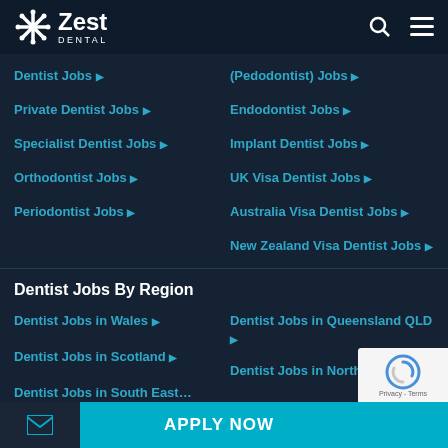[Figure (logo): Zest Dental logo with snowflake icon and search/menu icons in dark navy navigation bar]
Dentist Jobs ▶
(Pedodontist) Jobs ▶
Private Dentist Jobs ▶
Endodontist Jobs ▶
Specialist Dentist Jobs ▶
Implant Dentist Jobs ▶
Orthodontist Jobs ▶
UK Visa Dentist Jobs ▶
Periodontist Jobs ▶
Australia Visa Dentist Jobs ▶
New Zealand Visa Dentist Jobs ▶
Dentist Jobs By Region
Dentist Jobs in Wales ▶
Dentist Jobs in Queensland QLD ▶
Dentist Jobs in Scotland ▶
Dentist Jobs in Northe…
Dentist Jobs in South East…